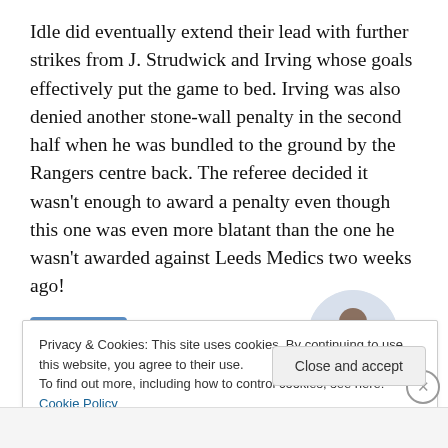Idle did eventually extend their lead with further strikes from J. Strudwick and Irving whose goals effectively put the game to bed. Irving was also denied another stone-wall penalty in the second half when he was bundled to the ground by the Rangers centre back. The referee decided it wasn't enough to award a penalty even though this one was even more blatant than the one he wasn't awarded against Leeds Medics two weeks ago!
[Figure (other): An advertisement area with a blue 'Apply' button on the left and a circular photo of a man on the right]
Privacy & Cookies: This site uses cookies. By continuing to use this website, you agree to their use.
To find out more, including how to control cookies, see here: Cookie Policy
Close and accept